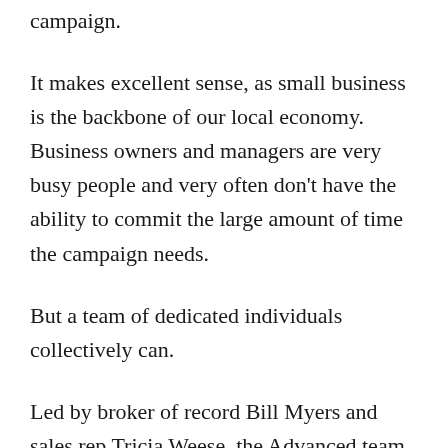campaign.
It makes excellent sense, as small business is the backbone of our local economy. Business owners and managers are very busy people and very often don't have the ability to commit the large amount of time the campaign needs.
But a team of dedicated individuals collectively can.
Led by broker of record Bill Myers and sales rep Tricia Weese, the Advanced team has a $1.5-million target for this year.
Weese, a former Chatham Voice staffer, has